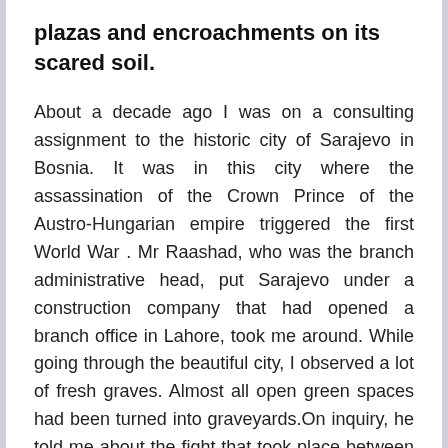plazas and encroachments on its scared soil.
About a decade ago I was on a consulting assignment to the historic city of Sarajevo in Bosnia. It was in this city where the assassination of the Crown Prince of the Austro-Hungarian empire triggered the first World War . Mr Raashad, who was the branch administrative head, put Sarajevo under a construction company that had opened a branch office in Lahore, took me around. While going through the beautiful city, I observed a lot of fresh graves. Almost all open green spaces had been turned into graveyards.On inquiry, he told me about the fight that took place between the Christian Serb dominated Yugoslavian Army and the Muslim population of